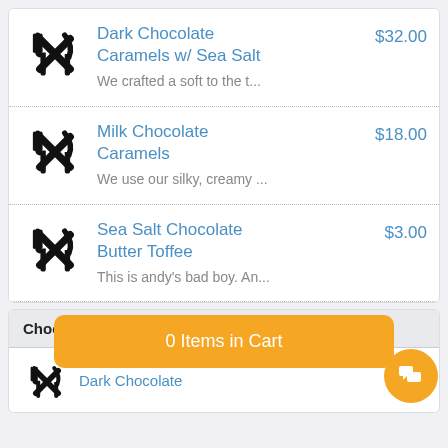Dark Chocolate Caramels w/ Sea Salt — $32.00 — We crafted a soft to the t...
Milk Chocolate Caramels — $18.00 — We use our silky, creamy ...
Sea Salt Chocolate Butter Toffee — $3.00 — This is andy's bad boy. An...
Chocolate C
0 Items in Cart
use O
Dark Chocolate
$82.0